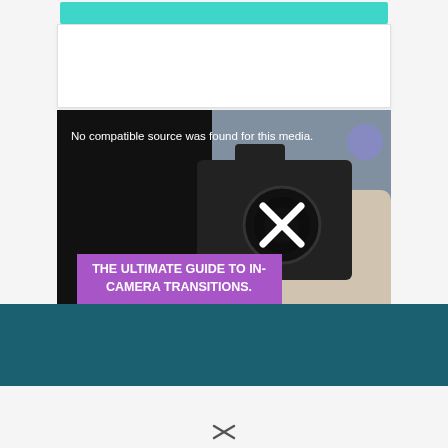[Figure (screenshot): Video thumbnail for 'The Ultimate Guide to In-Camera Transitions' showing a Canon camera held in hand with an X symbol overlay and a purple title banner. Text overlay reads: 'No compatible source was found for this media.']
In-Camera Transitions: The ULTIMATE Gui...